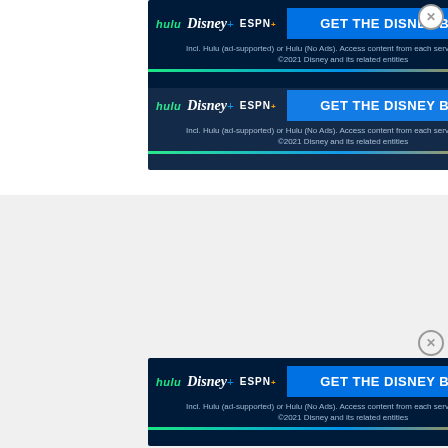[Figure (screenshot): Disney Bundle advertisement banner (top, partially visible/duplicated): dark navy background with Hulu, Disney+, ESPN+ logos on left and 'GET THE DISNEY BUNDLE' blue button on right. Subtext: 'Incl. Hulu (ad-supported) or Hulu (No Ads). Access content from each service separately. ©2021 Disney and its related entities'. Appears twice (original + duplicate artifact). Close (X) button top right.]
[Figure (screenshot): Disney Bundle advertisement banner (bottom): same dark navy background with Hulu, Disney+, ESPN+ logos and 'GET THE DISNEY BUNDLE' blue button. Subtext: 'Incl. Hulu (ad-supported) or Hulu (No Ads). Access content from each service separately. ©2021 Disney and its related entities'. Small X close button top right. Another close circle button to the right of page.]